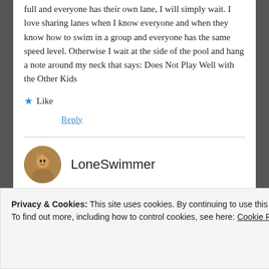full and everyone has their own lane, I will simply wait. I love sharing lanes when I know everyone and when they know how to swim in a group and everyone has the same speed level. Otherwise I wait at the side of the pool and hang a note around my neck that says: Does Not Play Well with the Other Kids
★ Like
Reply
LoneSwimmer
Privacy & Cookies: This site uses cookies. By continuing to use this website, you agree to their use.
To find out more, including how to control cookies, see here: Cookie Policy
Close and accept